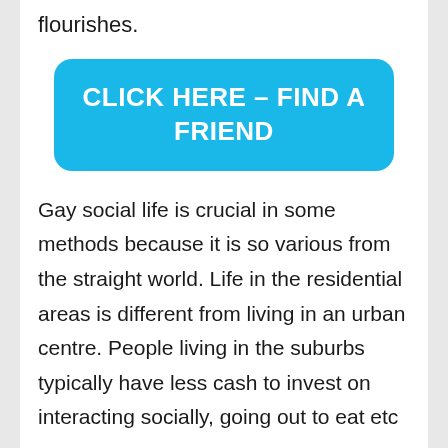flourishes.
[Figure (other): Large rounded blue button with white bold text reading: CLICK HERE – FIND A FRIEND]
Gay social life is crucial in some methods because it is so various from the straight world. Life in the residential areas is different from living in an urban centre. People living in the suburbs typically have less cash to invest on interacting socially, going out to eat etc